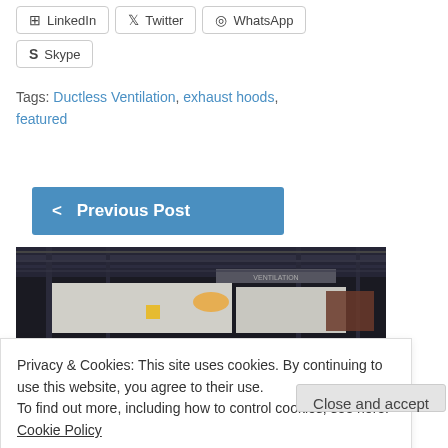LinkedIn   Twitter   WhatsApp
Skype
Tags: Ductless Ventilation, exhaust hoods, featured
< Previous Post
[Figure (photo): Industrial kitchen ventilation equipment photographed in a dark building interior with ducts and structural elements visible]
Privacy & Cookies: This site uses cookies. By continuing to use this website, you agree to their use.
To find out more, including how to control cookies, see here:
Cookie Policy
Close and accept
Kitchen Ventilation Base Building